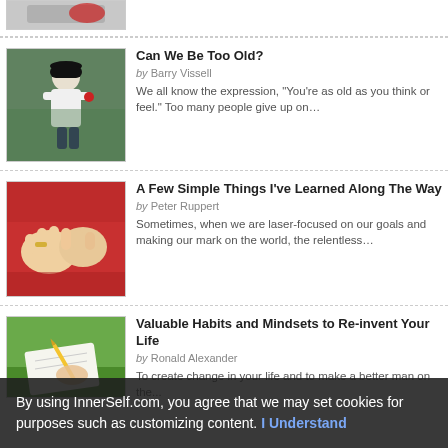[Figure (photo): Partial top image showing a red object on a table]
[Figure (photo): Baseball player in white uniform pitching]
Can We Be Too Old?
by Barry Vissell
We all know the expression, "You're as old as you think or feel." Too many people give up on…
[Figure (photo): Close-up of clasped hands in red sweater]
A Few Simple Things I've Learned Along The Way
by Peter Ruppert
Sometimes, when we are laser-focused on our goals and making our mark on the world, the relentless…
[Figure (photo): Person writing on paper outdoors on grass]
Valuable Habits and Mindsets to Re-invent Your Life
by Ronald Alexander
To create change in your life and to make a better man on the...
By using InnerSelf.com, you agree that we may set cookies for purposes such as customizing content. I Understand